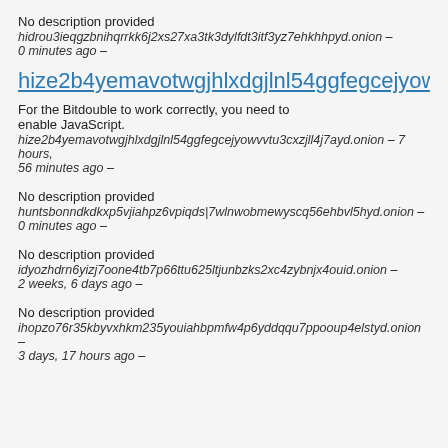No description provided
hidrou3ieqgzbnihqrrkk6j2xs27xa3tk3dylfdt3itf3yz7ehkhhpyd.onion — 0 minutes ago —
hize2b4yemavotwgjhlxdgjlnl54ggfegcejyowvvtu3c
For the Bitdouble to work correctly, you need to enable JavaScript.
hize2b4yemavotwgjhlxdgjlnl54ggfegcejyowvvtu3cxzjll4j7ayd.onion — 7 hours, 56 minutes ago —
No description provided
huntsbonndkdkxp5vjiahpz6vpiqds|7wlnwobmewyscq56ehbvl5hyd.onion — 0 minutes ago —
No description provided
idyozhdrn6yizj7oone4tb7p66ttu625ltjunbzks2xc4zybnjx4ouid.onion — 2 weeks, 6 days ago —
No description provided
ihopzo76r35kbyvxhkm235youiahbpmfw4p6yddqqu7ppooup4elstyd.onion — 3 days, 17 hours ago —